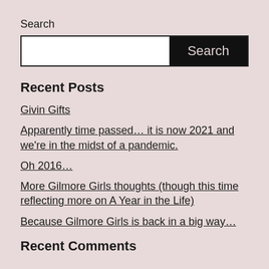Search
[Figure (other): Search bar with white input field and black Search button]
Recent Posts
Givin Gifts
Apparently time passed… it is now 2021 and we're in the midst of a pandemic.
Oh 2016…
More Gilmore Girls thoughts (though this time reflecting more on A Year in the Life)
Because Gilmore Girls is back in a big way…
Recent Comments